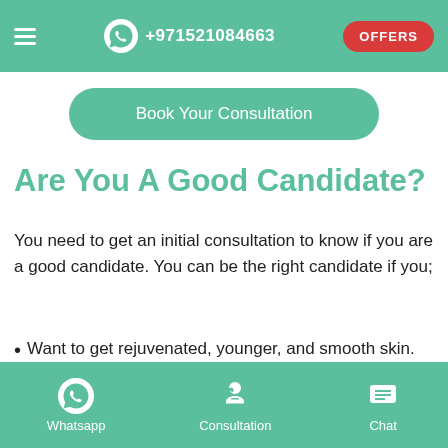≡  +971521084663  OFFERS
Book Your Consultation
Are You A Good Candidate?
You need to get an initial consultation to know if you are a good candidate. You can be the right candidate if you;
Want to get rejuvenated, younger, and smooth skin.
Whatsapp  Consultation  Chat